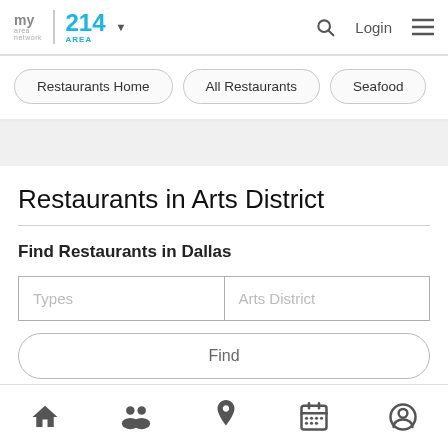my area network | 214 AREA | Login
Restaurants Home
All Restaurants
Seafood
Restaurants in Arts District
Find Restaurants in Dallas
Types | Arts District
Find
Home | Groups | Location | Calendar | Profile